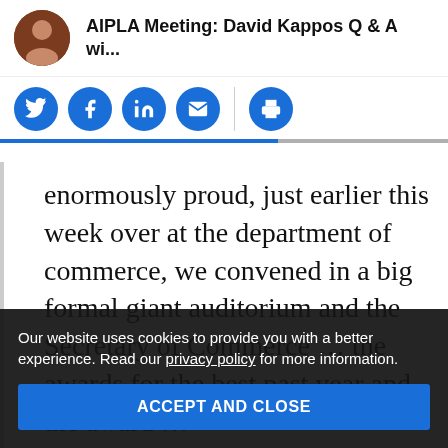AIPLA Meeting: David Kappos Q & A wi...
[Figure (infographic): Social sharing icons: Twitter, Facebook, LinkedIn, Email, Print]
enormously proud, just earlier this week over at the department of commerce, we convened in a big formal giant auditorium and the Secretary of Commerce ... the awards for the best past year and the award ...
Our website uses cookies to provide you with a better experience. Read our privacy policy for more information.
ACCEPT AND CLOSE